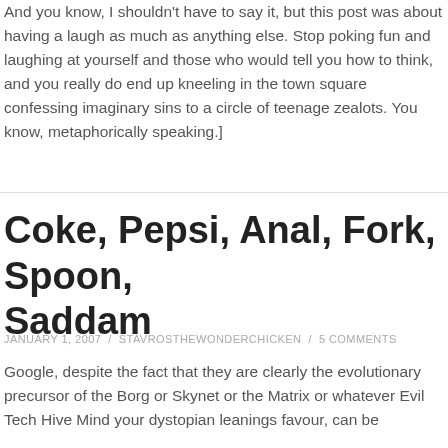And you know, I shouldn't have to say it, but this post was about having a laugh as much as anything else. Stop poking fun and laughing at yourself and those who would tell you how to think, and you really do end up kneeling in the town square confessing imaginary sins to a circle of teenage zealots. You know, metaphorically speaking.]
Coke, Pepsi, Anal, Fork, Spoon, Saddam
JANUARY 1, 2007 / STAVROSTHEWONDERCHICKEN / 5 COMMENTS
Google, despite the fact that they are clearly the evolutionary precursor of the Borg or Skynet or the Matrix or whatever Evil Tech Hive Mind your dystopian leanings favour, can be instructive and educational as well as entertaining and terrifying.
For other insights into the dark labyrinth...